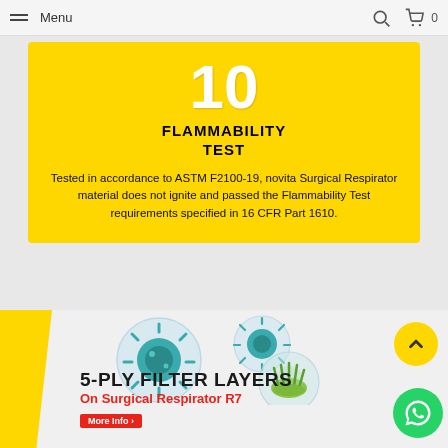Menu
10
FLAMMABILITY TEST
Tested in accordance to ASTM F2100-19, novita Surgical Respirator material does not ignite and passed the Flammability Test requirements specified in 16 CFR Part 1610.
[Figure (illustration): Virus/bacteria microscopic bubbles illustration]
5-PLY FILTER LAYERS
On Surgical Respirator R7